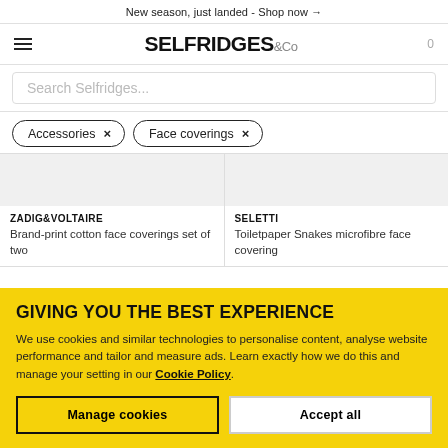New season, just landed - Shop now →
[Figure (logo): Selfridges & Co logo with hamburger menu and cart icon]
Search Selfridges...
Accessories ×
Face coverings ×
ZADIG&VOLTAIRE
Brand-print cotton face coverings set of two
SELETTI
Toiletpaper Snakes microfibre face covering
GIVING YOU THE BEST EXPERIENCE
We use cookies and similar technologies to personalise content, analyse website performance and tailor and measure ads. Learn exactly how we do this and manage your setting in our Cookie Policy.
Manage cookies
Accept all